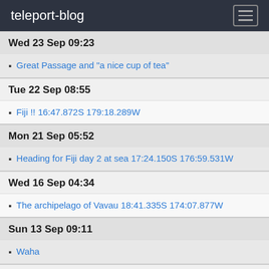teleport-blog
Wed 23 Sep 09:23
Great Passage and "a nice cup of tea"
Tue 22 Sep 08:55
Fiji !! 16:47.872S 179:18.289W
Mon 21 Sep 05:52
Heading for Fiji day 2 at sea 17:24.150S 176:59.531W
Wed 16 Sep 04:34
The archipelago of Vavau 18:41.335S 174:07.877W
Sun 13 Sep 09:11
Waha
Sat 12 Sep 09:00
Sunset over Hunga/Tonga
Fri 11 Sep 09:18
Crew-Colin Doig
Thu 10 Sep 00:54